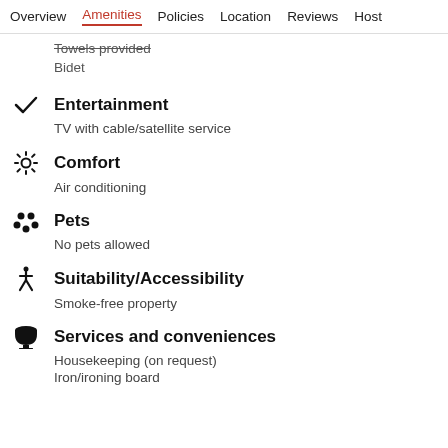Overview  Amenities  Policies  Location  Reviews  Host
Towels provided
Bidet
Entertainment
TV with cable/satellite service
Comfort
Air conditioning
Pets
No pets allowed
Suitability/Accessibility
Smoke-free property
Services and conveniences
Housekeeping (on request)
Iron/ironing board